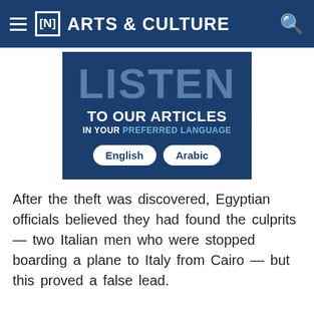[N] ARTS & CULTURE
[Figure (infographic): Dark blue banner with large grey text 'LISTEN' at top, white bold text 'TO OUR ARTICLES', smaller text 'IN YOUR PREFERRED LANGUAGE', and two white pill-shaped buttons labeled 'English' and 'Arabic'.]
After the theft was discovered, Egyptian officials believed they had found the culprits — two Italian men who were stopped boarding a plane to Italy from Cairo — but this proved a false lead.